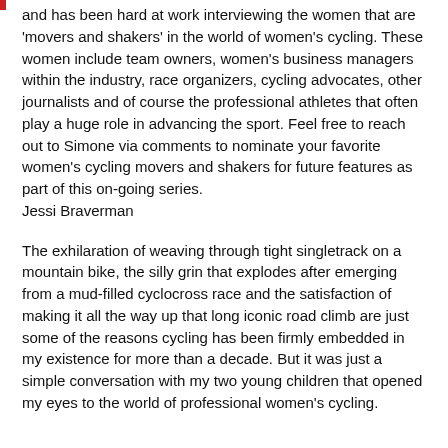and has been hard at work interviewing the women that are 'movers and shakers' in the world of women's cycling. These women include team owners, women's business managers within the industry, race organizers, cycling advocates, other journalists and of course the professional athletes that often play a huge role in advancing the sport. Feel free to reach out to Simone via comments to nominate your favorite women's cycling movers and shakers for future features as part of this on-going series.
Jessi Braverman
The exhilaration of weaving through tight singletrack on a mountain bike, the silly grin that explodes after emerging from a mud-filled cyclocross race and the satisfaction of making it all the way up that long iconic road climb are just some of the reasons cycling has been firmly embedded in my existence for more than a decade. But it was just a simple conversation with my two young children that opened my eyes to the world of professional women's cycling.